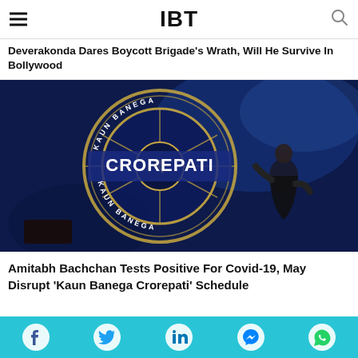IBT
Deverakonda Dares Boycott Brigade's Wrath, Will He Survive In Bollywood
[Figure (photo): Amitabh Bachchan standing on the Kaun Banega Crorepati stage in front of a large illuminated KBC logo on a dark blue background]
Amitabh Bachchan Tests Positive For Covid-19, May Disrupt 'Kaun Banega Crorepati' Schedule
Social share bar with Facebook, Twitter, LinkedIn, Messenger, WhatsApp icons